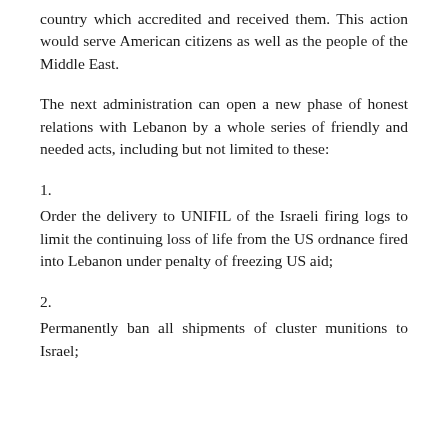country which accredited and received them. This action would serve American citizens as well as the people of the Middle East.
The next administration can open a new phase of honest relations with Lebanon by a whole series of friendly and needed acts, including but not limited to these:
1.
Order the delivery to UNIFIL of the Israeli firing logs to limit the continuing loss of life from the US ordnance fired into Lebanon under penalty of freezing US aid;
2.
Permanently ban all shipments of cluster munitions to Israel;